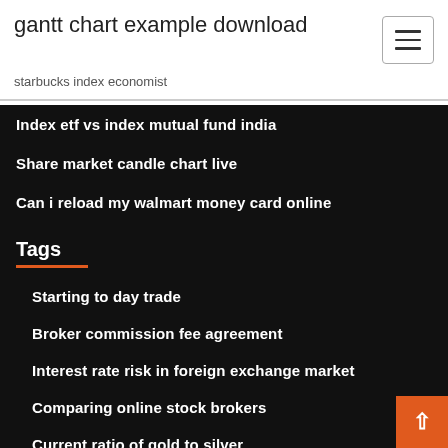gantt chart example download
starbucks index economist
Index etf vs index mutual fund india
Share market candle chart live
Can i reload my walmart money card online
Tags
Starting to day trade
Broker commission fee agreement
Interest rate risk in foreign exchange market
Comparing online stock brokers
Current ratio of gold to silver